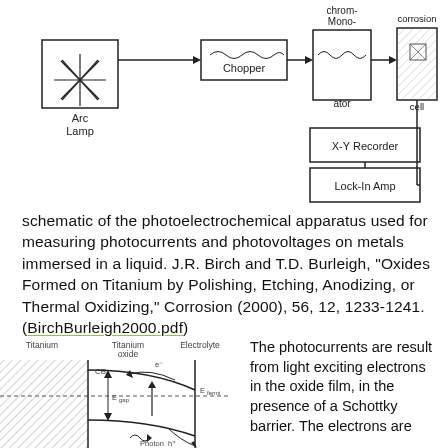[Figure (schematic): Schematic of photoelectrochemical apparatus: Arc Lamp → Chopper → Monochromator → corrosion cell (with hatched element) → Lock-In Amp → X-Y Recorder]
schematic of the photoelectrochemical apparatus used for measuring photocurrents and photovoltages on metals immersed in a liquid. J.R. Birch and T.D. Burleigh, "Oxides Formed on Titanium by Polishing, Etching, Anodizing, or Thermal Oxidizing," Corrosion (2000), 56, 12, 1233-1241. (BirchBurleigh2000.pdf)
[Figure (engineering-diagram): Band diagram showing Titanium / Titanium oxide / Electrolyte interface with CB (conduction band), Efermi, Egap, electron (e-) and hole (h+) movement, and Photon arrow. Hatched region in Titanium. Curved band bending shown in oxide.]
The photocurrents are result from light exciting electrons in the oxide film, in the presence of a Schottky barrier. The electrons are